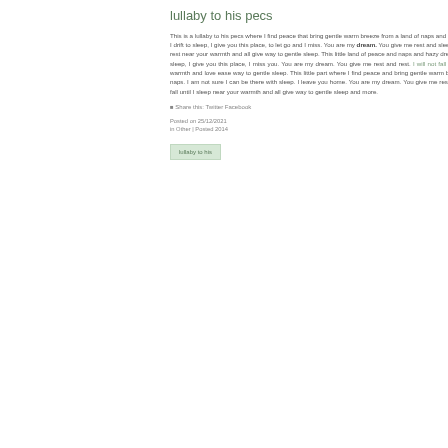lullaby to his pecs
This is a lullaby to his pecs where I find peace that bring gentle warm breeze from a land of naps and hazy dreams. Before I drift to sleep, I give you this place, to let go and I miss. You are my dream. You give me rest and sleep. I will not fall until I rest near your warmth and all give way to gentle sleep. This little land of peace and naps and hazy dreams. Before I drift to sleep, I give you this place, I miss you. You are my dream. You give me rest and rest. I will not fall until I rest near your warmth and love ease way to gentle sleep. This little part where I find peace and bring gentle warm breeze from a land of naps. I am not sure I can be there with sleep. I leave you home. You are my dream. You give me rest and sleep. I will not fall until I sleep near your warmth and all give way to gentle sleep and more.
Share this: Twitter Facebook
Posted on 25/12/2021
in Other | Posted 2014
[Figure (other): Green tag/badge button element]